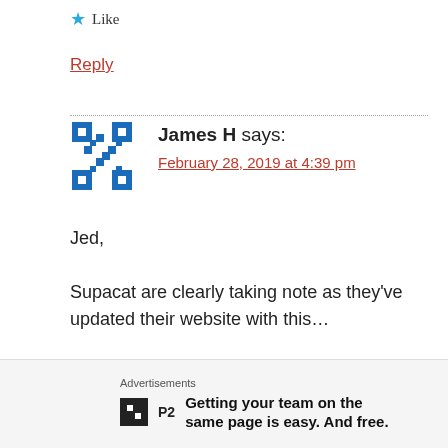★ Like
Reply
James H says:
February 28, 2019 at 4:39 pm
Jed,
Supacat are clearly taking note as they've updated their website with this...
https://www.google.com/search?
Advertisements
Getting your team on the same page is easy. And free.